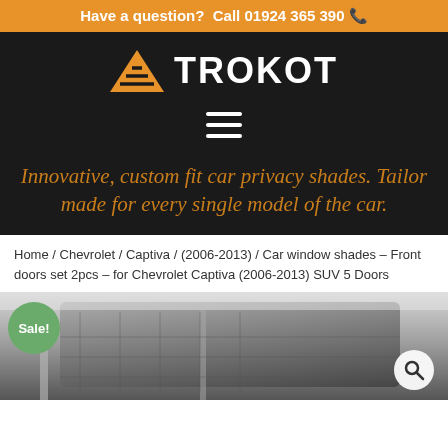Have a question?  Call 01924 365 390 📞
[Figure (logo): TROKOT logo with orange triangle/mountain icon and white bold text on black background]
[Figure (other): Hamburger menu icon (three horizontal white lines) on black background]
Innovative, custom fit car privacy shades. Tailor made for every single model of the car.
Home / Chevrolet / Captiva / (2006-2013) / Car window shades – Front doors set 2pcs – for Chevrolet Captiva (2006-2013) SUV 5 Doors
[Figure (photo): Product photo of car window shades installed in a vehicle, showing the shade mesh against the car window. Sale badge (green circle) visible top-left, magnifying glass search icon bottom-right.]